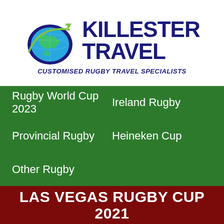[Figure (logo): Killester Travel logo with globe graphic, airplane, and green swoosh. Brand name in dark navy bold text, tagline below.]
KILLESTER TRAVEL
CUSTOMISED RUGBY TRAVEL SPECIALISTS
Rugby World Cup 2023
Ireland Rugby
Provincial Rugby
Heineken Cup
Other Rugby
LAS VEGAS RUGBY CUP 2021